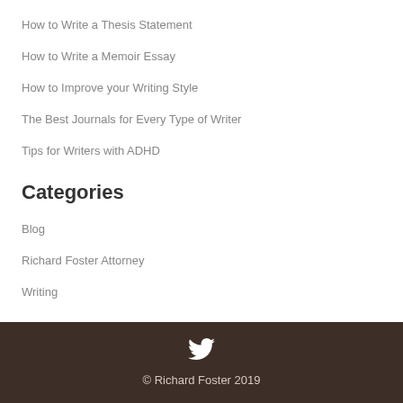How to Write a Thesis Statement
How to Write a Memoir Essay
How to Improve your Writing Style
The Best Journals for Every Type of Writer
Tips for Writers with ADHD
Categories
Blog
Richard Foster Attorney
Writing
© Richard Foster 2019